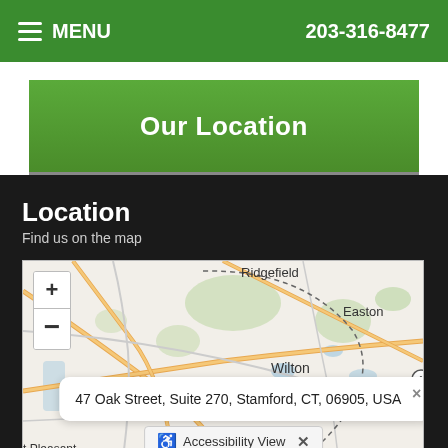MENU  203-316-8477
Our Location
Location
Find us on the map
[Figure (map): Interactive street map showing the Wilton/Ridgefield/Easton/Fairfield area in Connecticut with zoom controls (+/-), an address popup showing '47 Oak Street, Suite 270, Stamford, CT, 06905, USA', and an Accessibility View bar at the bottom. Labels visible: Ridgefield, Easton, Wilton, Fairfield, Mt Pleasant, route 15 marker.]